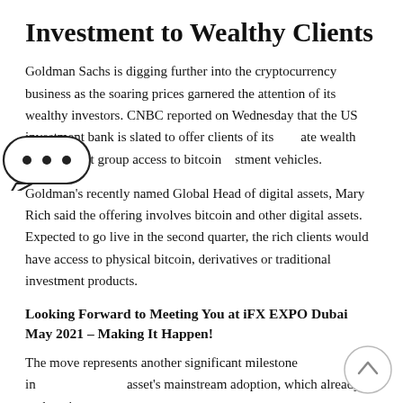Investment to Wealthy Clients
Goldman Sachs is digging further into the cryptocurrency business as the soaring prices garnered the attention of its wealthy investors. CNBC reported on Wednesday that the US investment bank is slated to offer clients of its private wealth management group access to bitcoin investment vehicles.
Goldman's recently named Global Head of digital assets, Mary Rich said the offering involves bitcoin and other digital assets. Expected to go live in the second quarter, the rich clients would have access to physical bitcoin, derivatives or traditional investment products.
Looking Forward to Meeting You at iFX EXPO Dubai May 2021 – Making It Happen!
The move represents another significant milestone in the asset's mainstream adoption, which already took a giant